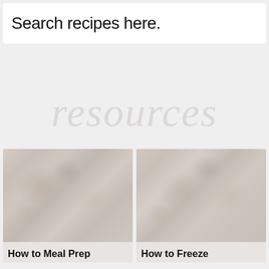Search recipes here.
[Figure (illustration): Faded cursive watermark text reading 'resources' in light gray script]
[Figure (photo): Faded/washed-out food photo, appears to show meal prep containers]
How to Meal Prep
[Figure (photo): Faded/washed-out food photo, appears to show frozen food containers]
How to Freeze